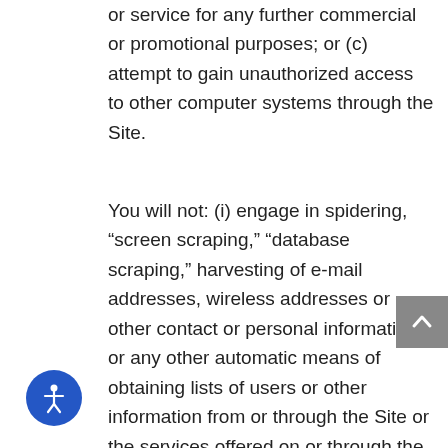or service for any further commercial or promotional purposes; or (c) attempt to gain unauthorized access to other computer systems through the Site.
You will not: (i) engage in spidering, “screen scraping,” “database scraping,” harvesting of e-mail addresses, wireless addresses or other contact or personal information, or any other automatic means of obtaining lists of users or other information from or through the Site or the services offered on or through the Site, including without limitation any information residing on any server or database connected to the Site or the services offered on or through the Site; (ii) obtain or attempt to obtain unauthorized access to computer systems, materials or information through any means; (iii) use the Site or the services made available on or through the Site